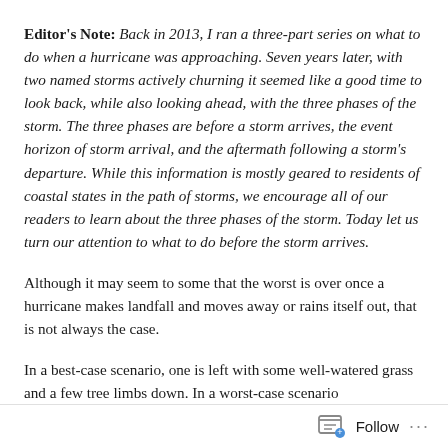Editor's Note: Back in 2013, I ran a three-part series on what to do when a hurricane was approaching. Seven years later, with two named storms actively churning it seemed like a good time to look back, while also looking ahead, with the three phases of the storm. The three phases are before a storm arrives, the event horizon of storm arrival, and the aftermath following a storm's departure. While this information is mostly geared to residents of coastal states in the path of storms, we encourage all of our readers to learn about the three phases of the storm. Today let us turn our attention to what to do before the storm arrives.
Although it may seem to some that the worst is over once a hurricane makes landfall and moves away or rains itself out, that is not always the case.
In a best-case scenario, one is left with some well-watered grass and a few tree limbs down. In a worst-case scenario